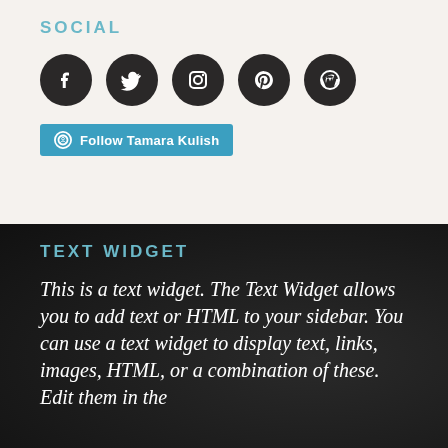SOCIAL
[Figure (illustration): Five dark circular social media icons in a row: Facebook, Twitter, Instagram, Pinterest, WordPress]
[Figure (illustration): Blue 'Follow Tamara Kulish' button with WordPress logo icon]
TEXT WIDGET
This is a text widget. The Text Widget allows you to add text or HTML to your sidebar. You can use a text widget to display text, links, images, HTML, or a combination of these. Edit them in the